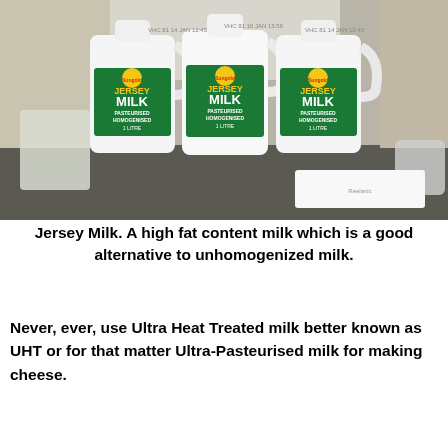[Figure (photo): Three white plastic 1-litre Sungold Jersey Milk bottles (pasteurised, homogenised) standing on a dark countertop. Labels are green and yellow with 'JERSEY MILK' text. A dishcloth and items on a rack are visible on the left, a container on the right.]
Jersey Milk.  A high fat content milk which is a good alternative to unhomogenized milk.
Never, ever, use Ultra Heat Treated milk better known as UHT or for that matter Ultra-Pasteurised milk for making cheese.